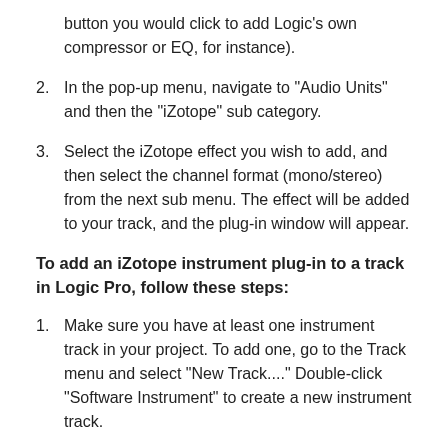button you would click to add Logic’s own compressor or EQ, for instance).
2. In the pop-up menu, navigate to "Audio Units" and then the "iZotope" sub category.
3. Select the iZotope effect you wish to add, and then select the channel format (mono/stereo) from the next sub menu. The effect will be added to your track, and the plug-in window will appear.
To add an iZotope instrument plug-in to a track in Logic Pro, follow these steps:
1. Make sure you have at least one instrument track in your project. To add one, go to the Track menu and select "New Track...." Double-click "Software Instrument" to create a new instrument track.
2. The instrument track’s channel strip will display the